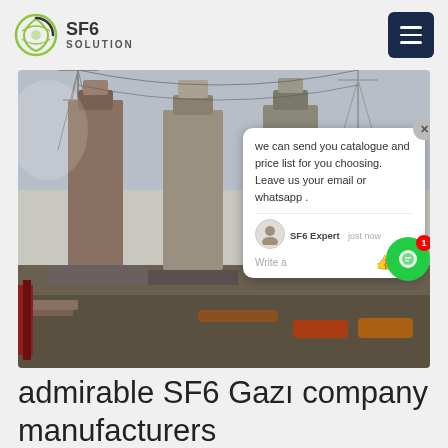SF6 SOLUTION
[Figure (photo): Industrial electrical substation with large SF6 gas-insulated switchgear equipment and transmission towers in the background. A chat popup overlay is visible showing a message from SF6 Expert.]
admirable SF6 Gazı company manufacturers